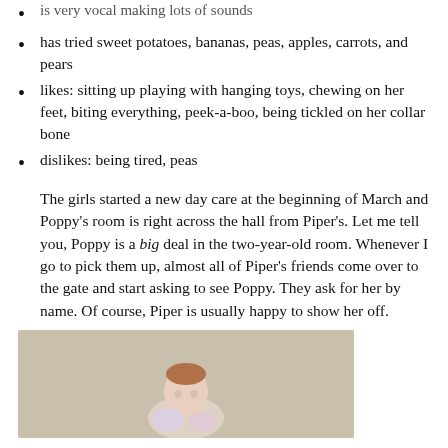is very vocal making lots of sounds
has tried sweet potatoes, bananas, peas, apples, carrots, and pears
likes: sitting up playing with hanging toys, chewing on her feet, biting everything, peek-a-boo, being tickled on her collar bone
dislikes: being tired, peas
The girls started a new day care at the beginning of March and Poppy's room is right across the hall from Piper's. Let me tell you, Poppy is a big deal in the two-year-old room. Whenever I go to pick them up, almost all of Piper's friends come over to the gate and start asking to see Poppy. They ask for her by name. Of course, Piper is usually happy to show her off.
[Figure (photo): Photo of a baby with reddish hair, held up or sitting, against a light beige/tan background, wearing what appears to be a light colored outfit]